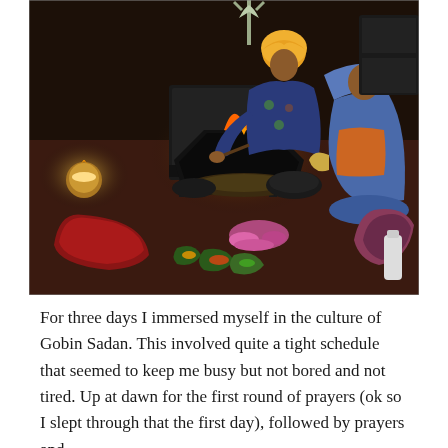[Figure (photo): A religious ceremony scene at Gobind Sadan. A man wearing a yellow turban and blue floral shirt tends to a fire (havan/yagna) in a large dark vessel on the floor. A woman in colorful blue and orange attire sits nearby. Red fabric, flower petals, and offerings are arranged on the floor. Religious symbols including a trident (trishul) are visible in the background.]
For three days I immersed myself in the culture of Gobin Sadan. This involved quite a tight schedule that seemed to keep me busy but not bored and not tired. Up at dawn for the first round of prayers (ok so I slept through that the first day), followed by prayers and